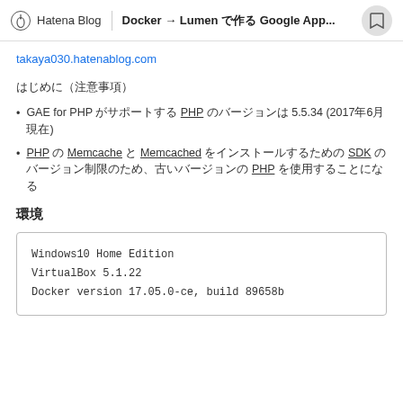Hatena Blog | Docker → Lumen で作る Google App...
takaya030.hatenablog.com
はじめに（注意事項）
GAE for PHP がサポートする PHP のバージョンは 5.5.34 (2017年6月現在)
PHP の Memcache と Memcached をインストールするための SDK のバージョン制限のため、古いバージョンの PHP を使用することになる
環境
Windows10 Home Edition
VirtualBox 5.1.22
Docker version 17.05.0-ce, build 89658b